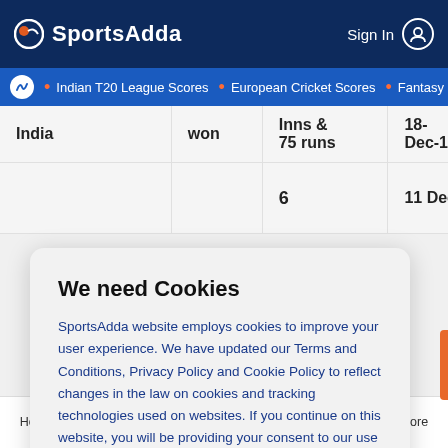SportsAdda — Sign In
• Indian T20 League Scores • European Cricket Scores • Fantasy C
|  |  | Inns & 75 runs | 18-Dec-16 |
| --- | --- | --- | --- |
| India | won | Inns & 75 runs | 18-Dec-16 |
|  |  | 6 | 11 Dec |
We need Cookies
SportsAdda website employs cookies to improve your user experience. We have updated our Terms and Conditions, Privacy Policy and Cookie Policy to reflect changes in the law on cookies and tracking technologies used on websites. If you continue on this website, you will be providing your consent to our use of cookies.
Agree
Home  Cricket Scores  Tips & Predictions  Football  More